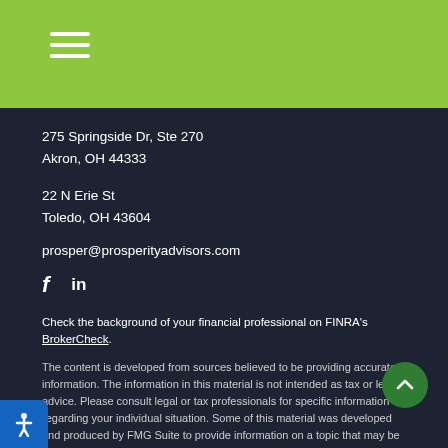Navigation menu icon (hamburger) on green background
275 Springside Dr, Ste 270
Akron, OH 44333
22 N Erie St
Toledo, OH 43604
prosper@prosperityadvisors.com
Social media icons: Facebook, LinkedIn
Check the background of your financial professional on FINRA's BrokerCheck.
The content is developed from sources believed to be providing accurate information. The information in this material is not intended as tax or legal advice. Please consult legal or tax professionals for specific information regarding your individual situation. Some of this material was developed and produced by FMG Suite to provide information on a topic that may be of interest. FMG Suite is not affiliated with the named representative, broker - dealer, state - or SEC - registered investment advisory firm. The opinions expressed and material provided are for general information, and should not be considered a solicitation for the purchase or sale of any security.